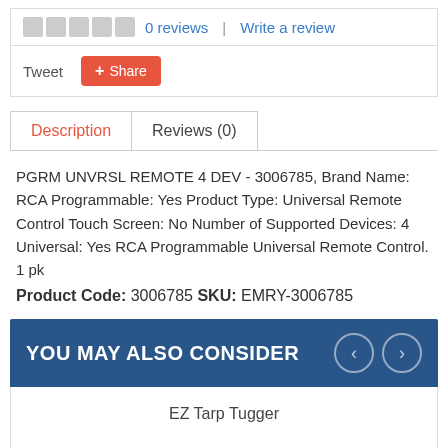0 reviews  |  Write a review
Tweet  Share
Description
Reviews (0)
PGRM UNVRSL REMOTE 4 DEV - 3006785, Brand Name: RCA Programmable: Yes Product Type: Universal Remote Control Touch Screen: No Number of Supported Devices: 4 Universal: Yes RCA Programmable Universal Remote Control. 1 pk
Product Code: 3006785 SKU: EMRY-3006785
YOU MAY ALSO CONSIDER
EZ Tarp Tugger